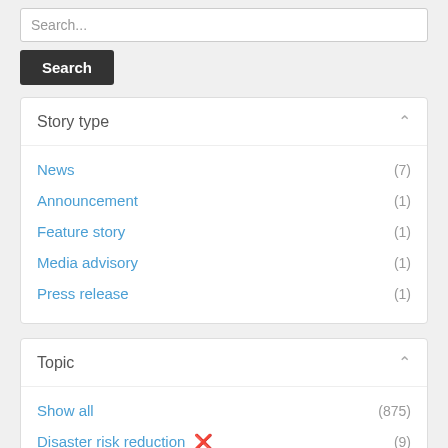Search...
Search
Story type
News (7)
Announcement (1)
Feature story (1)
Media advisory (1)
Press release (1)
Topic
Show all (875)
Disaster risk reduction ✕ (9)
Unpaid work ✕ (2)
Ending violence against women and girls (146)